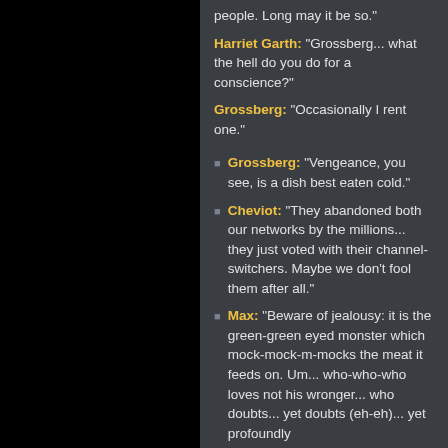[Figure (photo): Dark grainy textured background photo, black and white gravel or rocky surface filling the left portion of the page]
people. Long may it be so."
Harriet Garth: "Grossberg... what the hell do you do for a conscience?"
Grossberg: "Occasionally I rent one."
Grossberg: "Vengeance, you see, is a dish best eaten cold."
Cheviot: "They abandoned both our networks by the millions... they just voted with their channel-switchers. Maybe we don't fool them after all."
Max: "Beware of jealousy: it is the green-green eyed monster which mock-mock-m-mocks the meat it feeds on. Um... who-who-who loves not his wronger... who doubts... yet doubts (eh-eh)... yet profoundly"